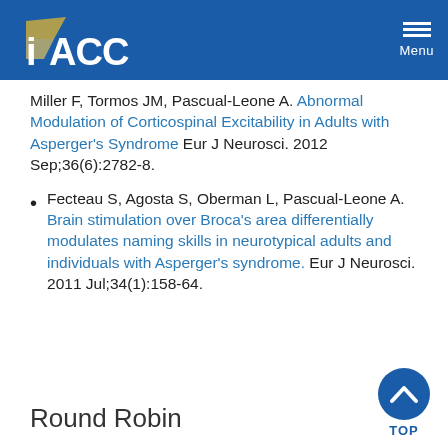IACC Menu
Miller F, Tormos JM, Pascual-Leone A. Abnormal Modulation of Corticospinal Excitability in Adults with Asperger's Syndrome Eur J Neurosci. 2012 Sep;36(6):2782-8.
Fecteau S, Agosta S, Oberman L, Pascual-Leone A. Brain stimulation over Broca's area differentially modulates naming skills in neurotypical adults and individuals with Asperger's syndrome. Eur J Neurosci. 2011 Jul;34(1):158-64.
Round Robin